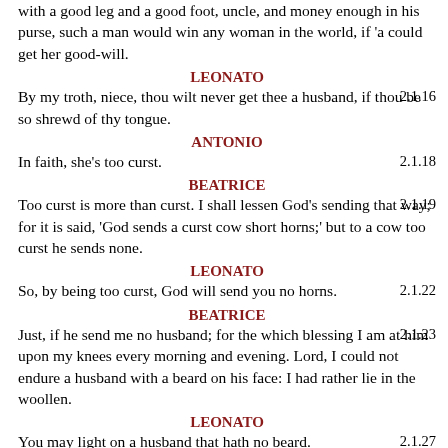with a good leg and a good foot, uncle, and money enough in his purse, such a man would win any woman in the world, if 'a could get her good-will.
LEONATO
2.1.16
By my troth, niece, thou wilt never get thee a husband, if thou be so shrewd of thy tongue.
ANTONIO
2.1.18
In faith, she's too curst.
BEATRICE
2.1.19
Too curst is more than curst. I shall lessen God's sending that way; for it is said, 'God sends a curst cow short horns;' but to a cow too curst he sends none.
LEONATO
2.1.22
So, by being too curst, God will send you no horns.
BEATRICE
2.1.23
Just, if he send me no husband; for the which blessing I am at him upon my knees every morning and evening. Lord, I could not endure a husband with a beard on his face: I had rather lie in the woollen.
LEONATO
2.1.27
You may light on a husband that hath no beard.
BEATRICE
2.1.28
What should I do with him? Dress him in my apparel and make him my waiting-gentlewoman? He that hath a